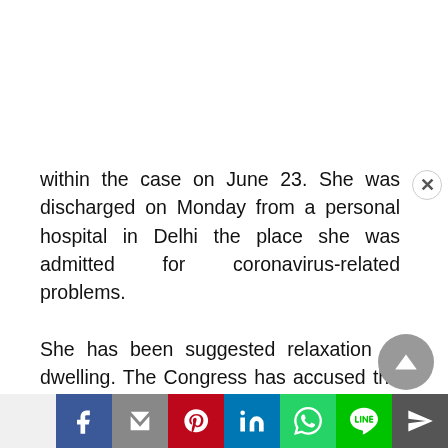within the case on June 23. She was discharged on Monday from a personal hospital in Delhi the place she was admitted for coronavirus-related problems.

She has been suggested relaxation at dwelling. The Congress has accused the Centre of concentrating on opposition leaders by misusing investigative companies and has termed your complete motion a “political vendetta”.